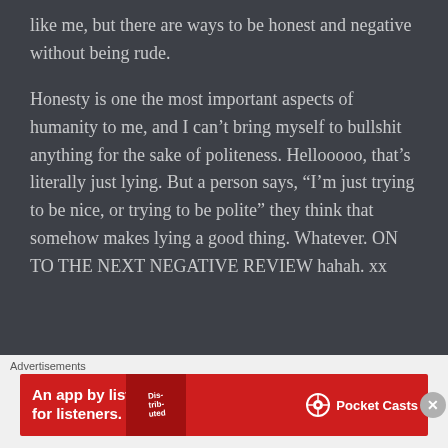like me, but there are ways to be honest and negative without being rude.
Honesty is one the most important aspects of humanity to me, and I can't bring myself to bullshit anything for the sake of politeness. Hellooooo, that's literally just lying. But a person says, "I'm just trying to be nice, or trying to be polite" they think that somehow makes lying a good thing. Whatever. ON TO THE NEXT NEGATIVE REVIEW hahah. xx
Advertisements
[Figure (other): Red advertisement banner for Pocket Casts app reading 'An app by listeners, for listeners.' with Pocket Casts logo and a phone showing 'Distributed' text]